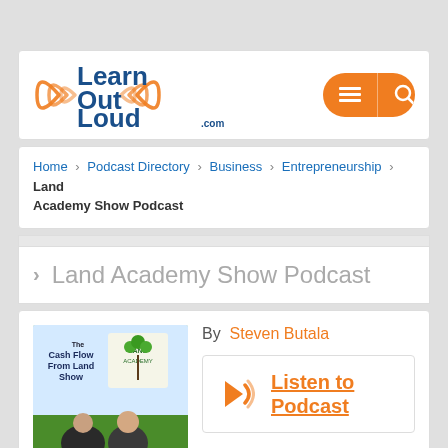[Figure (logo): Learn Out Loud .com logo with orange sound wave arcs on left side]
Home > Podcast Directory > Business > Entrepreneurship > Land Academy Show Podcast
Land Academy Show Podcast
[Figure (photo): The Cash Flow From Land Show podcast cover image with two people and Land Academy logo]
By  Steven Butala
Listen to Podcast